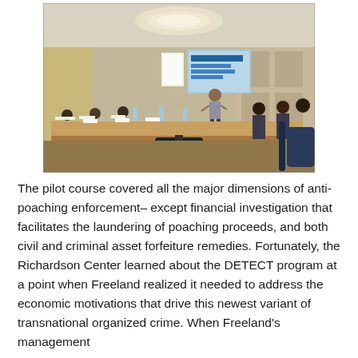[Figure (photo): A conference room scene with a speaker presenting to a group of participants seated around a long table. A projection screen is visible in the background showing a presentation slide. Water bottles and papers are on the table. The setting appears to be an anti-poaching enforcement training workshop.]
The pilot course covered all the major dimensions of anti-poaching enforcement– except financial investigation that facilitates the laundering of poaching proceeds, and both civil and criminal asset forfeiture remedies.   Fortunately, the Richardson Center learned about the DETECT program at a point when Freeland realized it needed to address the economic motivations that drive this newest variant of transnational organized crime.  When Freeland's management learned about the Richardson Center's financial...